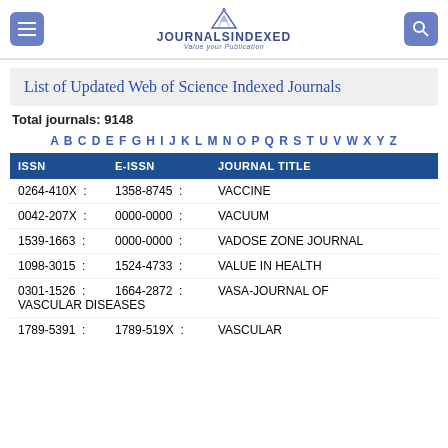JOURNALSINDEXED - Value your Publication
List of Updated Web of Science Indexed Journals
Total journals: 9148
A B C D E F G H I J K L M N O P Q R S T U V W X Y Z
| ISSN | E-ISSN | JOURNAL TITLE |
| --- | --- | --- |
| 0264-410X | 1358-8745 | VACCINE |
| 0042-207X | 0000-0000 | VACUUM |
| 1539-1663 | 0000-0000 | VADOSE ZONE JOURNAL |
| 1098-3015 | 1524-4733 | VALUE IN HEALTH |
| 0301-1526 | 1664-2872 | VASA-JOURNAL OF VASCULAR DISEASES |
| 1789-5391 | 1789-519X | VASCULAR... |